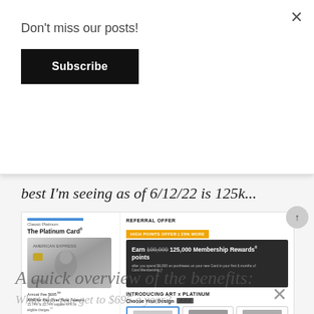Don't miss our posts!
Subscribe
best I'm seeing as of 6/12/22 is 125k...
[Figure (screenshot): American Express Platinum Card advertisement showing referral offer of 125,000 Membership Rewards points, Classic Platinum card image, annual fee $695, APR 15.74% to 23.74%, Apply Now button, Compare button, and card design options including Classic Platinum, Platinum x Kehinde Wiley, and Platinum x Julie Mehretu]
A quick overview of the benefits:
What do you get to $695 a year?